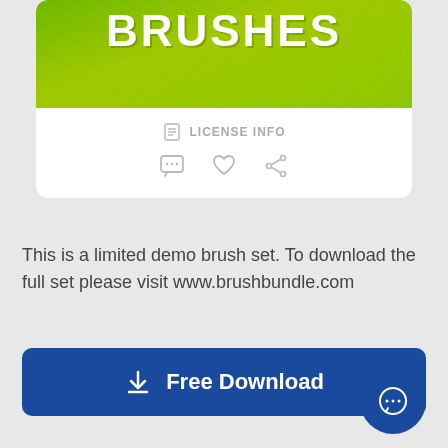[Figure (illustration): Green textured background with 'BRUSHES' text in large bold white letters, partially cropped at top]
LICENSE INFO
[Figure (illustration): Row of action icons: comment bubble, heart/like, share]
This is a limited demo brush set. To download the full set please visit www.brushbundle.com
Free Download
[Figure (illustration): Floating action button with chat/comment icon in dark blue circle at bottom right]